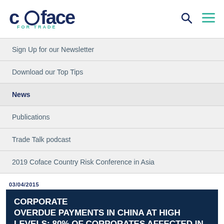coface FOR TRADE
Sign Up for our Newsletter
Download our Top Tips
News
Publications
Trade Talk podcast
2019 Coface Country Risk Conference in Asia
03/04/2015
CORPORATE OVERDUE PAYMENTS IN CHINA AT HIGH LEVELS: 80% OF CORPORATES AFFECTED IN 2014